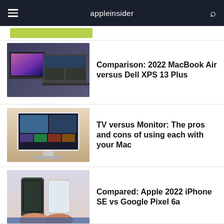appleinsider
[Figure (screenshot): MacBook Air and Dell XPS 13 Plus laptops side by side]
Comparison: 2022 MacBook Air versus Dell XPS 13 Plus
[Figure (screenshot): iMac-style monitor showing TV/streaming interface]
TV versus Monitor: The pros and cons of using each with your Mac
[Figure (screenshot): Hands holding Google Pixel 6a and iPhone SE side by side]
Compared: Apple 2022 iPhone SE vs Google Pixel 6a